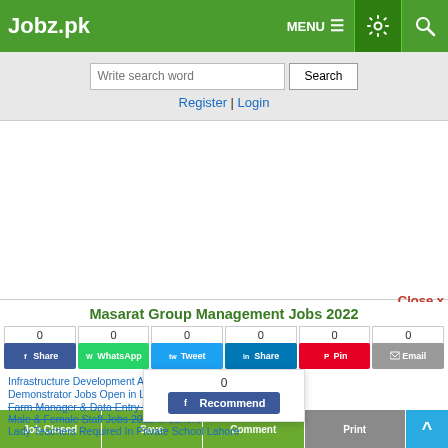Jobz.pk | MENU | Settings | Search
Write search word [Search]
Register | Login
[Figure (screenshot): White advertisement placeholder area]
Close x
Masarat Group Management Jobs 2022
Share counts: 0 0 0 0 0 0
Share buttons: Share (Facebook), WhatsApp, Tweet, Share (LinkedIn), Pin, Email
Recommend popup: 0 | Recommend (Facebook)
Infrastructure Development Authority of Punjab Lahore Jobs
Demonstrator Jobs Open in Lahore 2022
Farm Manager & Data Entry Operator Jobs 2022 in Lahore
Male & Female Staff Jobs 2022 in Lahore
Lady Teachers Required In Private School Lahore
Job Closed | Save | Comment | Print | ^